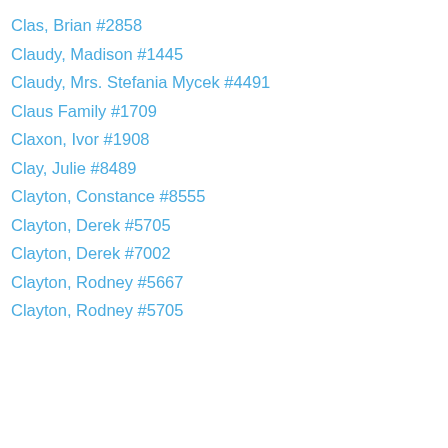Clas, Brian #2858
Claudy, Madison #1445
Claudy, Mrs. Stefania Mycek #4491
Claus Family #1709
Claxon, Ivor #1908
Clay, Julie #8489
Clayton, Constance #8555
Clayton, Derek #5705
Clayton, Derek #7002
Clayton, Rodney #5667
Clayton, Rodney #5705